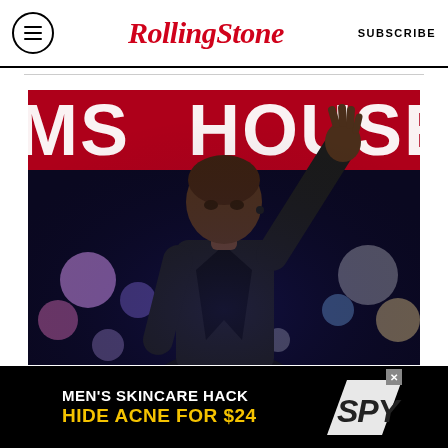Rolling Stone  SUBSCRIBE
[Figure (photo): Person in black leather jacket on stage with one arm raised, colorful bokeh lights in background, text HOUSE visible behind]
NEAR DEATH EXPERIENCES
[Figure (infographic): Advertisement banner: MEN'S SKINCARE HACK HIDE ACNE FOR $24 with SPY logo]